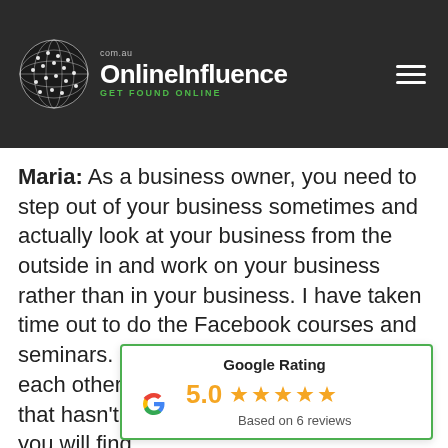OnlineInfluence.com.au — GET FOUND ONLINE
Maria: As a business owner, you need to step out of your business sometimes and actually look at your business from the outside in and work on your business rather than in your business. I have taken time out to do the Facebook courses and seminars. Some of them sort of duplicate each other, but there's always something that hasn't been brought up before that you will find.
I like to say I'm a bit of a vacuum cleaner as far as information goes, much as I can, and works for us. I have social media platfo... Twitter or LinkedIn; Facebook seems to be
[Figure (infographic): Google Rating widget showing 5.0 stars based on 6 reviews]